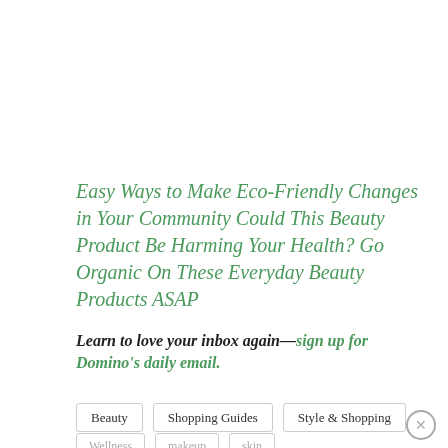Easy Ways to Make Eco-Friendly Changes in Your Community Could This Beauty Product Be Harming Your Health? Go Organic On These Everyday Beauty Products ASAP
Learn to love your inbox again—sign up for Domino's daily email.
Beauty
Shopping Guides
Style & Shopping
Wellness
makeup
skin